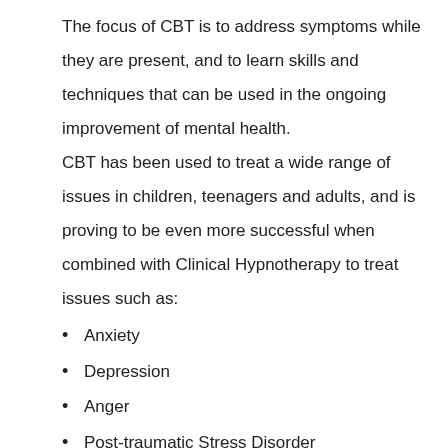The focus of CBT is to address symptoms while they are present, and to learn skills and techniques that can be used in the ongoing improvement of mental health.
CBT has been used to treat a wide range of issues in children, teenagers and adults, and is proving to be even more successful when combined with Clinical Hypnotherapy to treat issues such as:
Anxiety
Depression
Anger
Post-traumatic Stress Disorder
Obsessive Compulsive Disorder
Panic
Phobias
Eating Disorders